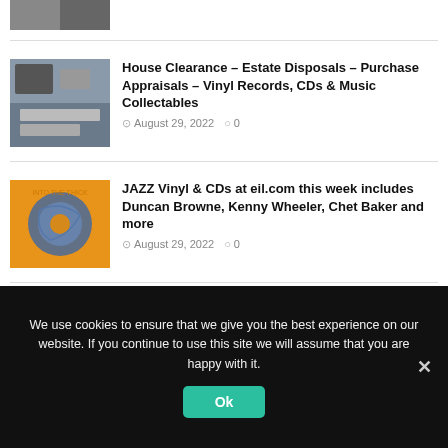[Figure (photo): Partial image of a music/collectables scene at top of page]
[Figure (photo): Photo of boxes and items for house clearance estate disposal]
House Clearance – Estate Disposals – Purchase Appraisals – Vinyl Records, CDs & Music Collectables
August 29, 2022   0
[Figure (photo): Orange album cover with globe illustration for JAZZ Vinyl article]
JAZZ Vinyl & CDs at eil.com this week includes Duncan Browne, Kenny Wheeler, Chet Baker and more
August 29, 2022   0
[Figure (photo): Collage of vinyl record covers for Sound Advice article]
Sound Advice: How The UK Grading Of Vinyl Records Works – Watch Our Video...
We use cookies to ensure that we give you the best experience on our website. If you continue to use this site we will assume that you are happy with it.